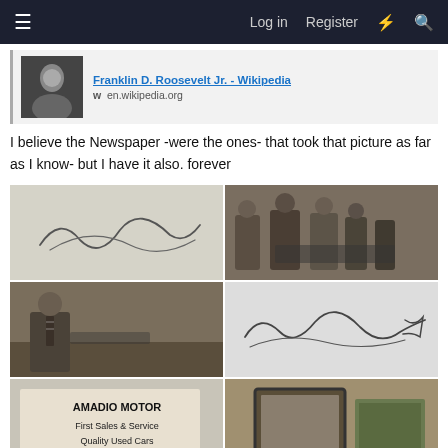≡   Log in   Register   ⚡   🔍
[Figure (screenshot): Link preview card with thumbnail photo of a man and link to Franklin D. Roosevelt Jr. - Wikipedia at en.wikipedia.org]
I believe the Newspaper -were the ones- that took that picture as far as I know- but I have it also. forever
[Figure (photo): Six photos in a 2-column grid: (1) handwritten signature on paper, (2) black-and-white group photo of men near a car, (3) black-and-white photo of a man at a desk or car, (4) handwritten signature 'Franklin D Roosevelt Jr' on paper, (5) Amadio Motor sign reading 'First Sales & Service Quality Used Cars', (6) framed photo partially visible]
Franklin D. Roosevelt Jr. related memorabilia and signatures